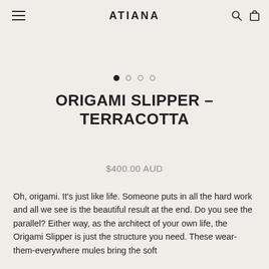ATIANA
[Figure (other): Carousel pagination dots: one filled black dot followed by three empty circle dots]
ORIGAMI SLIPPER – TERRACOTTA
$400.00 AUD
Oh, origami. It's just like life. Someone puts in all the hard work and all we see is the beautiful result at the end. Do you see the parallel? Either way, as the architect of your own life, the Origami Slipper is just the structure you need. These wear-them-everywhere mules bring the soft